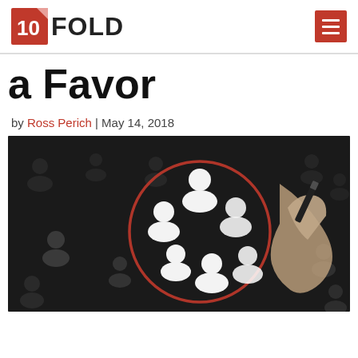10FOLD
a Favor
by Ross Perich | May 14, 2018
[Figure (photo): A hand holding a marker drawing a red circle around glowing white user/person icons on a dark background, with blurred grey person icons in the background]